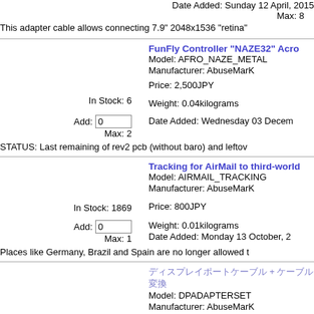Date Added: Sunday 12 April, 2015
Max: 8
This adapter cable allows connecting 7.9" 2048x1536 "retina"
FunFly Controller "NAZE32" Acro
Model: AFRO_NAZE_METAL
Manufacturer: AbuseMarK
Price: 2,500JPY
In Stock: 6
Add: 0
Max: 2
Weight: 0.04kilograms
Date Added: Wednesday 03 December
STATUS: Last remaining of rev2 pcb (without baro) and leftov
Tracking for AirMail to third-world
Model: AIRMAIL_TRACKING
Manufacturer: AbuseMarK
Price: 800JPY
In Stock: 1869
Add: 0
Max: 1
Weight: 0.01kilograms
Date Added: Monday 13 October, 2
Places like Germany, Brazil and Spain are no longer allowed t
ディスプレイポートケーブル + ケーブル 変換
Model: DPADAPTERSET
Manufacturer: AbuseMarK
Price: 10,000JPY
In Stock: 2